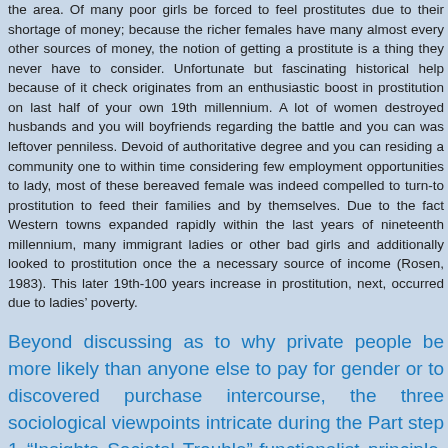the area. Of many poor girls be forced to feel prostitutes due to their shortage of money; because the richer females have many almost every other sources of money, the notion of getting a prostitute is a thing they never have to consider. Unfortunate but fascinating historical help because of it check originates from an enthusiastic boost in prostitution on last half of your own 19th millennium. A lot of women destroyed husbands and you will boyfriends regarding the battle and you can was leftover penniless. Devoid of authoritative degree and you can residing a community one to within time considering few employment opportunities to lady, most of these bereaved female was indeed compelled to turn-to prostitution to feed their families and by themselves. Due to the fact Western towns expanded rapidly within the last years of nineteenth millennium, many immigrant ladies or other bad girls and additionally looked to prostitution once the a necessary source of income (Rosen, 1983). This later 19th-100 years increase in prostitution, next, occurred due to ladies' poverty.
Beyond discussing as to why private people be more likely than anyone else to pay for gender or to discovered purchase intercourse, the three sociological viewpoints intricate during the Part step 1 “Insights Societal Trouble”-functionalist principle, disagreement theory, and you will symbolic interactionism-offer much